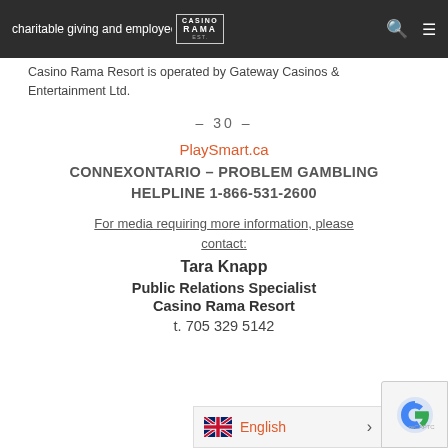Casino Rama Resort — Navigation bar with logo, search and menu icons
charitable giving and employee volunteerism. Casino Rama Resort is operated by Gateway Casinos & Entertainment Ltd.
– 30 –
PlaySmart.ca
CONNEXONTARIO – PROBLEM GAMBLING HELPLINE 1-866-531-2600
For media requiring more information, please contact:
Tara Knapp
Public Relations Specialist
Casino Rama Resort
t. 705 329 5142
English — language selector